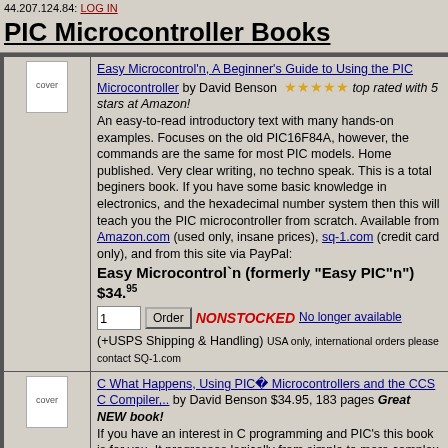44.207.124.84: LOG IN
PIC Microcontroller Books
| Cover | Description |
| --- | --- |
| cover | Easy Microcontrol'n, A Beginner's Guide to Using the PIC Microcontroller by David Benson ★★★★★ top rated with 5 stars at Amazon! An easy-to-read introductory text with many hands-on examples. Focuses on the old PIC16F84A, however, the commands are the same for most PIC models. Home published. Very clear writing, no techno speak. This is a total beginers book. If you have some basic knowledge in electronics, and the hexadecimal number system then this will teach you the PIC microcontroller from scratch. Available from Amazon.com (used only, insane prices), sq-1.com (credit card only), and from this site via PayPal: Easy Microcontrol`n (formerly "Easy PIC"n") $34.95 [Order] NONSTOCKED No longer available (+USPS Shipping & Handling) USA only, international orders please contact SQ-1.com |
| cover | C What Happens, Using PIC® Microcontrollers and the CCS C Compiler,.. by David Benson $34.95, 183 pages Great NEW book! If you have an interest in C programming and PIC's this book is for you. It progresses logically from simple to more complex concepts and examples, using a simple circuit described in the book. |